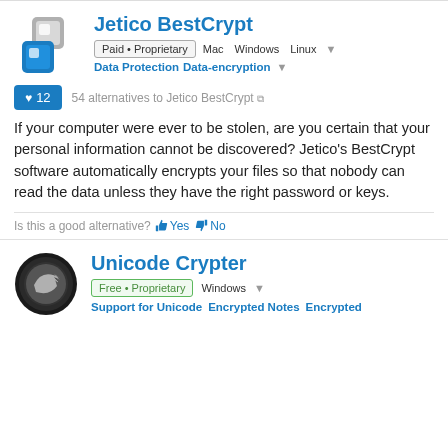[Figure (logo): Jetico BestCrypt app icon — grey and blue interlocked squares logo]
Jetico BestCrypt
Paid • Proprietary  Mac  Windows  Linux
Data Protection  Data-encryption
♥12  54 alternatives to Jetico BestCrypt
If your computer were ever to be stolen, are you certain that your personal information cannot be discovered? Jetico's BestCrypt software automatically encrypts your files so that nobody can read the data unless they have the right password or keys.
Is this a good alternative? Yes No
[Figure (logo): Unicode Crypter app icon — dark circular icon with silver arrow]
Unicode Crypter
Free • Proprietary  Windows
Support for Unicode  Encrypted Notes  Encrypted